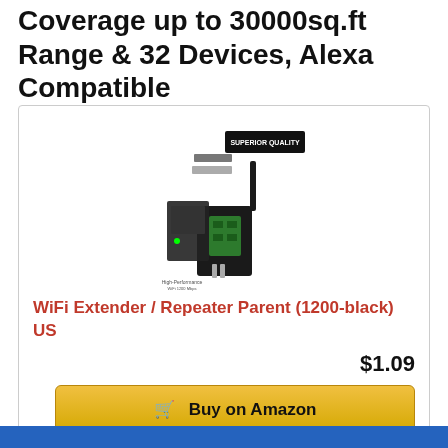Coverage up to 30000sq.ft Range & 32 Devices, Alexa Compatible
[Figure (photo): WiFi extender/repeater product exploded view with 'SUPERIOR QUALITY' label]
WiFi Extender / Repeater Parent (1200-black) US
$1.09
Buy on Amazon
Stay connected with https://techyadvice.com/
Related Tags: The Best Wifi Range Extender 2022